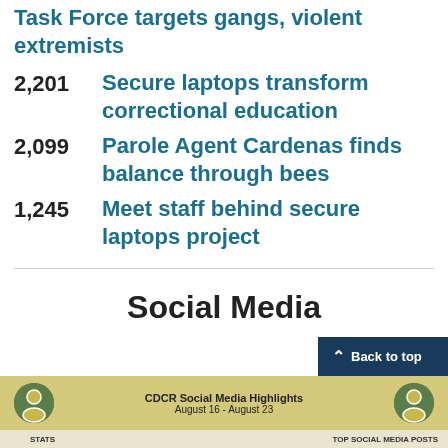Task Force targets gangs, violent extremists
2,201   Secure laptops transform correctional education
2,099   Parole Agent Cardenas finds balance through bees
1,245   Meet staff behind secure laptops project
Social Media
[Figure (infographic): CDCR Social Media Highlights August 16 - August 23 banner with icon and stats bar showing STATS and TOP SOCIAL MEDIA POSTS labels]